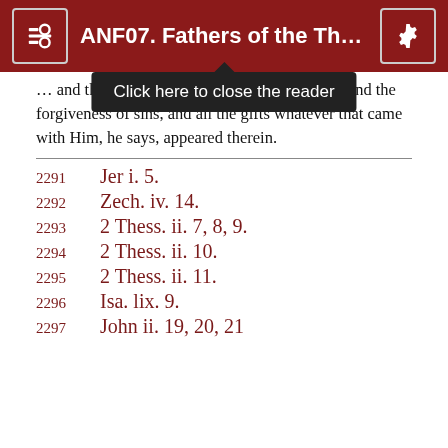ANF07. Fathers of the Third a…
… and the ark of the Lord's testa… the Gospel and the forgiveness of sins, and all the gifts whatever that came with Him, he says, appeared therein.
2291    Jer i. 5.
2292    Zech. iv. 14.
2293    2 Thess. ii. 7, 8, 9.
2294    2 Thess. ii. 10.
2295    2 Thess. ii. 11.
2296    Isa. lix. 9.
2297    John ii. 19, 20, 21